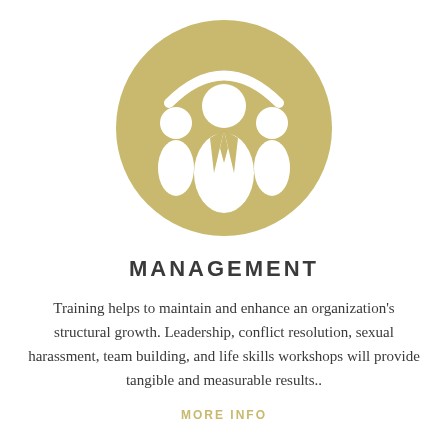[Figure (illustration): A circular olive/tan colored icon showing three human figures — a central manager figure in a suit with a tie, flanked by two smaller figures, with a curved arc above them suggesting leadership or oversight.]
MANAGEMENT
Training helps to maintain and enhance an organization's structural growth. Leadership, conflict resolution, sexual harassment, team building, and life skills workshops will provide tangible and measurable results..
MORE INFO